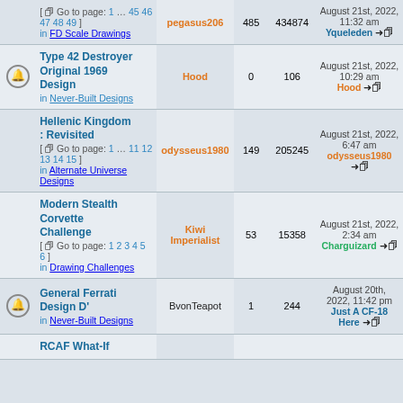|  | Topic | Author | Replies | Views | Last Post |
| --- | --- | --- | --- | --- | --- |
|  | [ Go to page: 1 … 45 46 47 48 49 ] in FD Scale Drawings | pegasus206 | 485 | 434874 | August 21st, 2022, 11:32 am Yqueleden |
| bell | Type 42 Destroyer Original 1969 Design in Never-Built Designs | Hood | 0 | 106 | August 21st, 2022, 10:29 am Hood |
|  | Hellenic Kingdom : Revisited [ Go to page: 1 … 11 12 13 14 15 ] in Alternate Universe Designs | odysseus1980 | 149 | 205245 | August 21st, 2022, 6:47 am odysseus1980 |
|  | Modern Stealth Corvette Challenge [ Go to page: 1 2 3 4 5 6 ] in Drawing Challenges | Kiwi Imperialist | 53 | 15358 | August 21st, 2022, 2:34 am Charguizard |
| bell | General Ferrati Design D' in Never-Built Designs | BvonTeapot | 1 | 244 | August 20th, 2022, 11:42 pm Just A CF-18 Here |
|  | RCAF What-If |  |  |  |  |